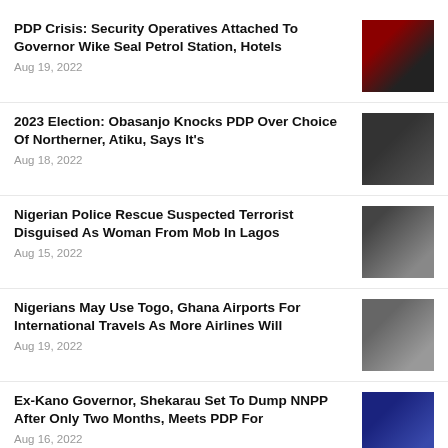PDP Crisis: Security Operatives Attached To Governor Wike Seal Petrol Station, Hotels
Aug 19, 2022
2023 Election: Obasanjo Knocks PDP Over Choice Of Northerner, Atiku, Says It's
Aug 18, 2022
Nigerian Police Rescue Suspected Terrorist Disguised As Woman From Mob In Lagos
Aug 15, 2022
Nigerians May Use Togo, Ghana Airports For International Travels As More Airlines Will
Aug 19, 2022
Ex-Kano Governor, Shekarau Set To Dump NNPP After Only Two Months, Meets PDP For
Aug 16, 2022
BREAKING: Military's Joint Task Force Hits